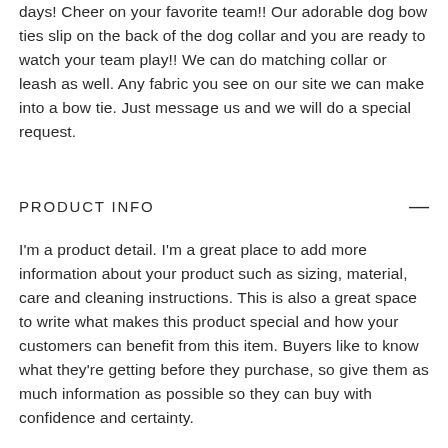days! Cheer on your favorite team!! Our adorable dog bow ties slip on the back of the dog collar and you are ready to watch your team play!! We can do matching collar or leash as well. Any fabric you see on our site we can make into a bow tie. Just message us and we will do a special request.
PRODUCT INFO
I'm a product detail. I'm a great place to add more information about your product such as sizing, material, care and cleaning instructions. This is also a great space to write what makes this product special and how your customers can benefit from this item. Buyers like to know what they're getting before they purchase, so give them as much information as possible so they can buy with confidence and certainty.